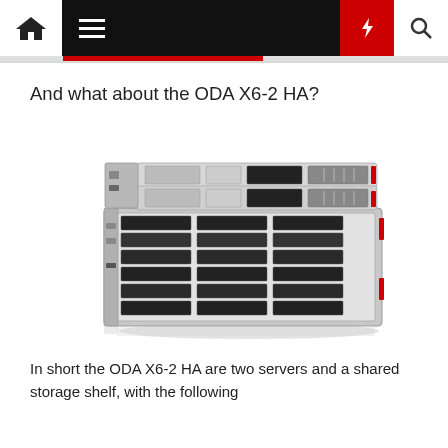Navigation bar with home, menu, flash, and search icons
And what about the ODA X6-2 HA?
[Figure (photo): Oracle Database Appliance ODA X6-2 HA hardware — stacked rack unit servers and shared storage shelf unit]
In short the ODA X6-2 HA are two servers and a shared storage shelf, with the following